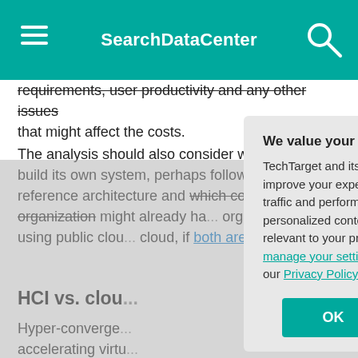SearchDataCenter
requirements, user productivity and any other issues that might affect the costs.
The analysis should also consider whether IT will build its own system, perhaps following a reference architecture and which components the organization might already ha... organization sho... using public clou... cloud, if both are...
HCI vs. clou...
Hyper-converge... accelerating virtu... to change how w... infrastructure tha... other hand, repr...
We value your privacy.
TechTarget and its partners employ cookies to improve your experience on our site, to analyze traffic and performance, and to serve personalized content and advertising that are relevant to your professional interests. You can manage your settings at any time. Please view our Privacy Policy for more information